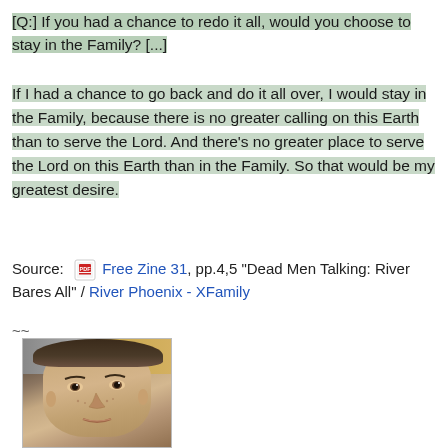[Q:] If you had a chance to redo it all, would you choose to stay in the Family? [...]
If I had a chance to go back and do it all over, I would stay in the Family, because there is no greater calling on this Earth than to serve the Lord. And there’s no greater place to serve the Lord on this Earth than in the Family. So that would be my greatest desire.
Source: [PDF icon] Free Zine 31, pp.4,5 "Dead Men Talking: River Bares All" / River Phoenix - XFamily
~~
[Figure (photo): Black and white or color photograph of a young boy (River Phoenix as a child) with dark hair, looking at the camera, with a wall/background behind him.]